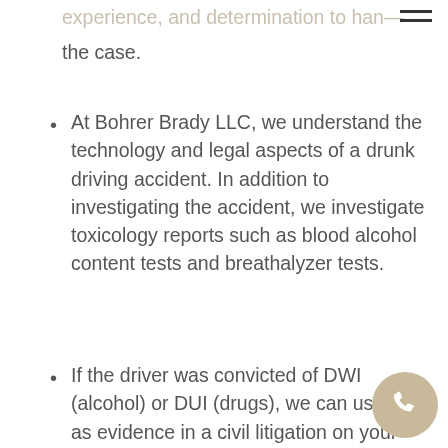experience, and determination to handle the case.
At Bohrer Brady LLC, we understand the technology and legal aspects of a drunk driving accident. In addition to investigating the accident, we investigate toxicology reports such as blood alcohol content tests and breathalyzer tests.
If the driver was convicted of DWI (alcohol) or DUI (drugs), we can use this as evidence in a civil litigation on your behalf.
When a drunk driver causes a car wreck, the injured victims have a right to punitive damages under